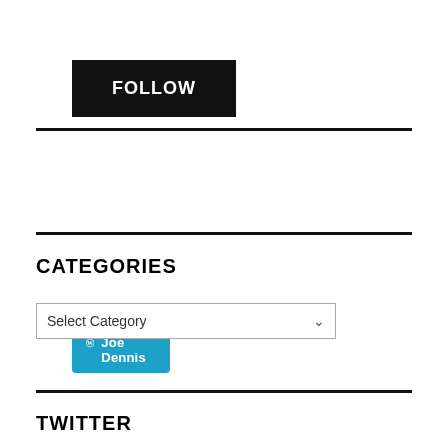FOLLOW
[Figure (other): WordPress Follow Joe Dennis button in cyan/teal color with WordPress logo icon]
CATEGORIES
[Figure (other): Select Category dropdown widget]
TWITTER